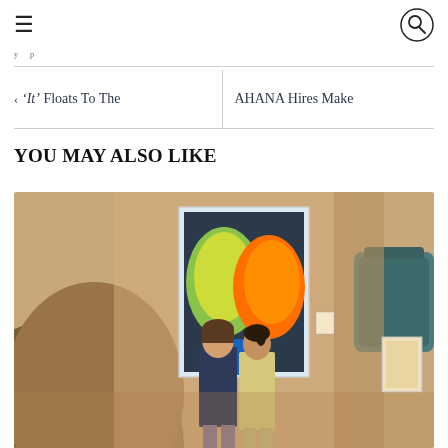≡  [search icon]
y p
< 'It' Floats To The
AHANA Hires Make
YOU MAY ALSO LIKE
[Figure (photo): Two people standing in an art gallery looking at a large colorful painting on a warm beige wall. Person on left has brown hair, person on right is wearing a light yellow outfit. A teal bag is visible on the right edge of the frame.]